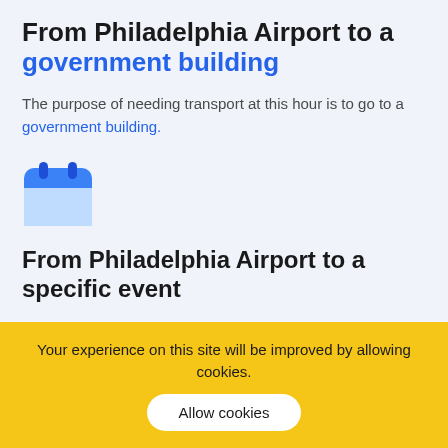From Philadelphia Airport to a government building
The purpose of needing transport at this hour is to go to a government building.
[Figure (illustration): Blue calendar icon]
From Philadelphia Airport to a specific event
If your intention is to go to any of the specific
Your experience on this site will be improved by allowing cookies.
Allow cookies